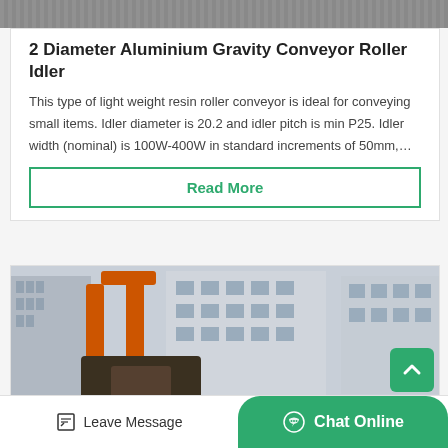[Figure (photo): Partial view of conveyor roller machinery — grey striped industrial surface at top of page]
2 Diameter Aluminium Gravity Conveyor Roller Idler
This type of light weight resin roller conveyor is ideal for conveying small items. Idler diameter is 20.2 and idler pitch is min P25. Idler width (nominal) is 100W-400W in standard increments of 50mm,…
Read More
[Figure (photo): Industrial machinery yard with orange crane arms, large beige/cream conveyor rollers in foreground, industrial buildings in background]
Leave Message
Chat Online